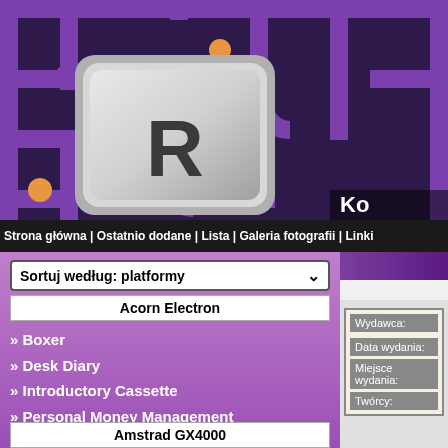[Figure (screenshot): Website header banner with dark purple Pac-Man maze background, orange dots, a red pixel ghost, a large keyboard key with letter R, and partial text 'Ko' in white. Navigation bar below reads: Strona główna | Ostatnio dodane | Lista | Galeria fotografii | Linki]
Strona główna | Ostatnio dodane | Lista | Galeria fotografii | Linki
Sortuj według: platformy
Acorn Electron
Boxer
Desk Diary
Introductory Cassette
Personal Money Management
Snapper
Sphinx Adventure
Starship Command
Amstrad GX4000
| Wydawca: |
| Data wydania: |
| Miejsce wydania: |
| Twórcy: |